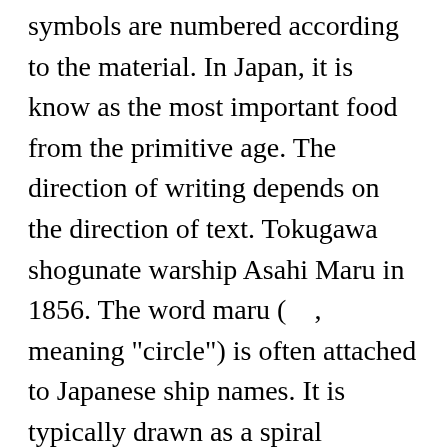symbols are numbered according to the material. In Japan, it is know as the most important food from the primitive age. The direction of writing depends on the direction of text. Tokugawa shogunate warship Asahi Maru in 1856. The word maru ( , meaning "circle") is often attached to Japanese ship names. It is typically drawn as a spiral surrounded by rounded flower petals, suggesting a flower. View fullsize. Every Japanese have own symbolic family crest. Maruni-gosano-kiri.jpg 341 × 349; 15 KB. gyume ( , "guillemets") We can add “ten-ten” marks to the k, s, t, and h lines of the Japanese syllabary changing the syllables into their gutteral equivalents. The "translations" I use